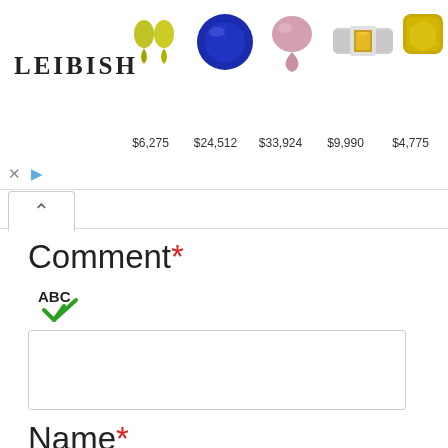[Figure (screenshot): Leibish jewelry advertisement banner showing 5 gemstone items with prices: two yellow-green pear-shaped gems $6,275, a blue round sapphire $24,512, a pink pear-shaped gem $33,924, a gold ring $9,990, and a yellow cushion diamond $4,775. Shows close and play controls.]
Comment*
[Figure (other): ABC spellcheck icon with green checkmark]
Name*